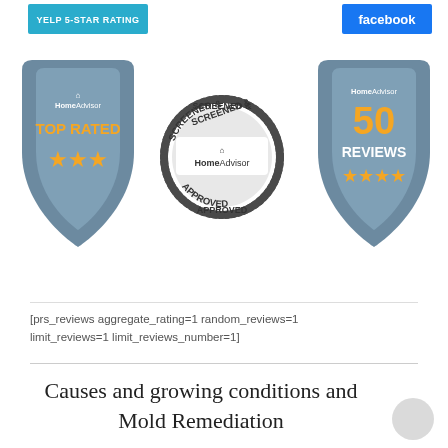[Figure (logo): Yelp 5-Star Rating badge (blue/teal background, white text)]
[Figure (logo): Facebook badge (blue background)]
[Figure (logo): HomeAdvisor Top Rated badge with orange stars on shield shape]
[Figure (logo): HomeAdvisor Screened & Approved circular seal badge]
[Figure (logo): HomeAdvisor 50 Reviews badge with orange stars on shield shape]
[prs_reviews aggregate_rating=1 random_reviews=1 limit_reviews=1 limit_reviews_number=1]
Causes and growing conditions and Mold Remediation